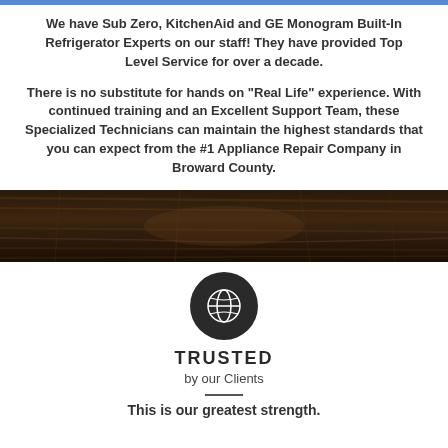We have Sub Zero, KitchenAid and GE Monogram Built-In Refrigerator Experts on our staff! They have provided Top Level Service for over a decade.
There is no substitute for hands on "Real Life" experience. With continued training and an Excellent Support Team, these Specialized Technicians can maintain the highest standards that you can expect from the #1 Appliance Repair Company in Broward County.
[Figure (photo): Dark wood grain texture banner image]
[Figure (illustration): Globe icon on dark circular background]
TRUSTED
by our Clients
This is our greatest strength.